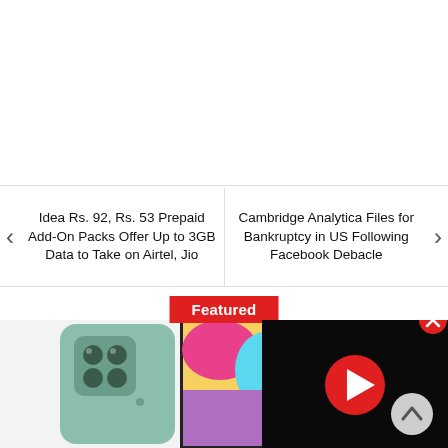[Figure (logo): Gadgets 360 red circle logo with '360' text]
Subscribe to Gadgets 360 alerts
For breaking tech news, latest reviews, and more
No   YES
Idea Rs. 92, Rs. 53 Prepaid Add-On Packs Offer Up to 3GB Data to Take on Airtel, Jio
Cambridge Analytica Files for Bankruptcy in US Following Facebook Debacle
Featured
[Figure (photo): Samsung smartphone shown from back (green) and front, with colorful wallpaper. A video player overlay appears on the right side with a red play button on dark background. A close (X) button appears at top right of the video, and a scroll-up chevron button at bottom right.]